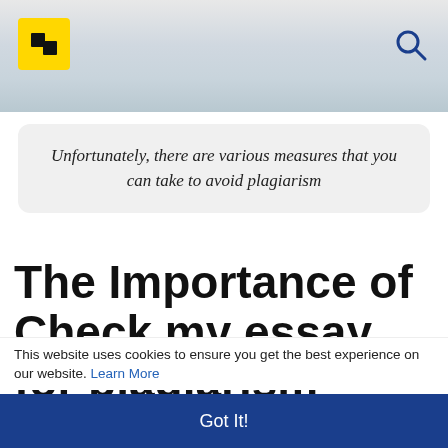[Figure (screenshot): Website header with yellow logo icon and search icon on a blurred colorful background]
Unfortunately, there are various measures that you can take to avoid plagiarism
The Importance of Check my essay for plagiarism
This website uses cookies to ensure you get the best experience on our website. Learn More
Got It!